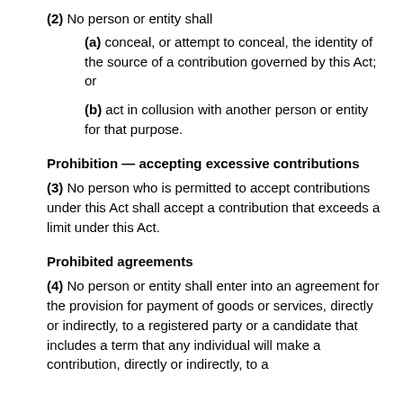(2) No person or entity shall
(a) conceal, or attempt to conceal, the identity of the source of a contribution governed by this Act; or
(b) act in collusion with another person or entity for that purpose.
Prohibition — accepting excessive contributions
(3) No person who is permitted to accept contributions under this Act shall accept a contribution that exceeds a limit under this Act.
Prohibited agreements
(4) No person or entity shall enter into an agreement for the provision for payment of goods or services, directly or indirectly, to a registered party or a candidate that includes a term that any individual will make a contribution, directly or indirectly, to a registered party or a registered association.